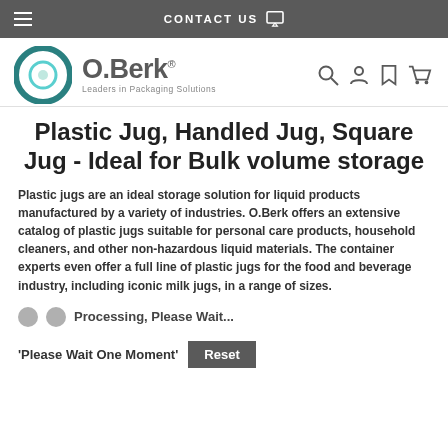CONTACT US
[Figure (logo): O.Berk logo with circular teal icon and tagline 'Leaders in Packaging Solutions']
Plastic Jug, Handled Jug, Square Jug - Ideal for Bulk volume storage
Plastic jugs are an ideal storage solution for liquid products manufactured by a variety of industries. O.Berk offers an extensive catalog of plastic jugs suitable for personal care products, household cleaners, and other non-hazardous liquid materials. The container experts even offer a full line of plastic jugs for the food and beverage industry, including iconic milk jugs, in a range of sizes.
Processing, Please Wait...
'Please Wait One Moment'  Reset